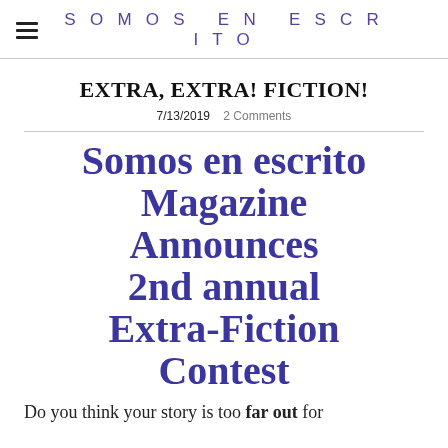SOMOS EN ESCRITO
EXTRA, EXTRA! FICTION!
7/13/2019   2 Comments
Somos en escrito Magazine Announces 2nd annual Extra-Fiction Contest
Do you think your story is too far out for